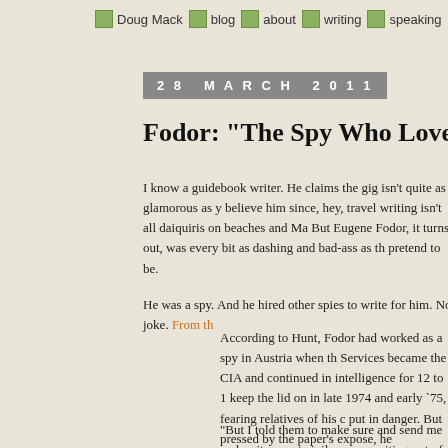Doug Mack | blog | about | writing | speaking
28 MARCH 2011
Fodor: "The Spy Who Loved Travel"
I know a guidebook writer. He claims the gig isn't quite as glamorous as y... believe him since, hey, travel writing isn't all daiquiris on beaches and Ma... But Eugene Fodor, it turns out, was every bit as dashing and bad-ass as th... pretend to be.
He was a spy. And he hired other spies to write for him. No joke. From th...
According to Hunt, Fodor had worked as a spy in Austria when th... Services became the CIA and continued in intelligence for 12 to 1... keep the lid on in late 1974 and early `75, fearing relatives of his ... put in danger. But pressed by the paper's expose, he acknowledge... his hiring of many guidebook writers who were CIA spies during...
"But I told them to make sure and send me real writers, not civil e... some writing out of them. And I did, too," Fodor told the Times in...
In unrelated guidebook-related news, I was kind of amused by this post o...